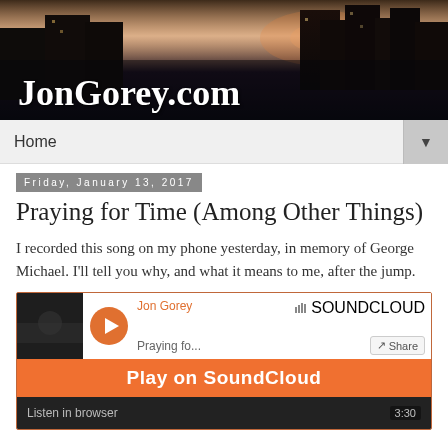[Figure (photo): Website header banner showing a dark cityscape/building silhouette at dusk with the site title JonGorey.com overlaid in white serif font]
Home ▼
Friday, January 13, 2017
Praying for Time (Among Other Things)
I recorded this song on my phone yesterday, in memory of George Michael. I'll tell you why, and what it means to me, after the jump.
[Figure (screenshot): SoundCloud embedded audio player for Jon Gorey - Praying fo[r Time], with orange Play on SoundCloud button and Listen in browser option, duration 3:30]